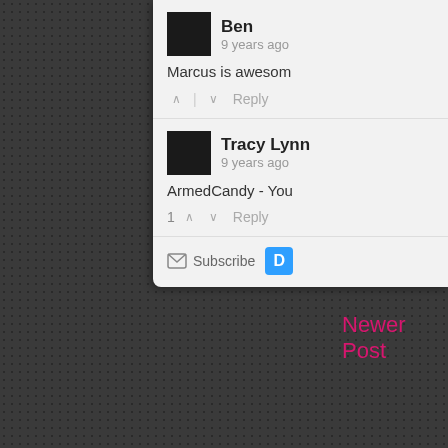[Figure (screenshot): Dark textured background with dotted/dimpled pattern in dark gray]
Ben
9 years ago
Marcus is awesom
Tracy Lynn
9 years ago
ArmedCandy - You
Subscribe
Newer Post